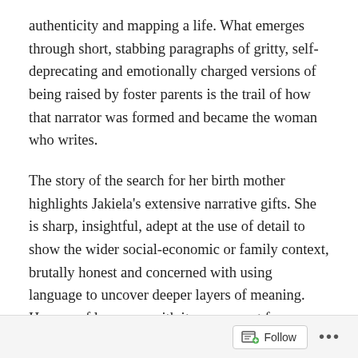authenticity and mapping a life. What emerges through short, stabbing paragraphs of gritty, self-deprecating and emotionally charged versions of being raised by foster parents is the trail of how that narrator was formed and became the woman who writes.
The story of the search for her birth mother highlights Jakiela's extensive narrative gifts. She is sharp, insightful, adept at the use of detail to show the wider social-economic or family context, brutally honest and concerned with using language to uncover deeper layers of meaning. Her use of language with its movement from staccato jazz to the darkly funny is reminiscent of Geoff Dyer in The Colour of Memory and Paris Trance. However, Jakiela offers another layer than Dyer in that she is concerned
Follow ···